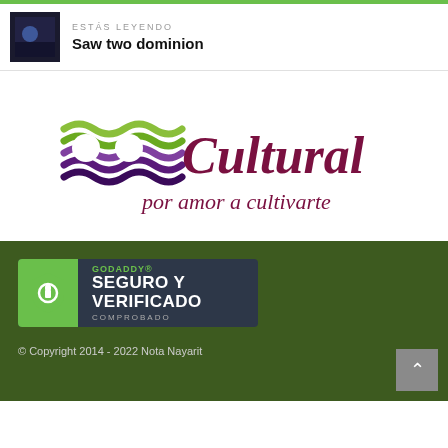ESTÁS LEYENDO
Saw two dominion
[Figure (logo): Onda Cultural logo — colorful wave design with text 'Onda Cultural' and tagline 'por amor a cultivarte']
[Figure (logo): GoDaddy Seguro y Verificado badge — dark background with green shield icon, text reads 'GODADDY® SEGURO Y VERIFICADO COMPROBADO']
© Copyright 2014 - 2022 Nota Nayarit